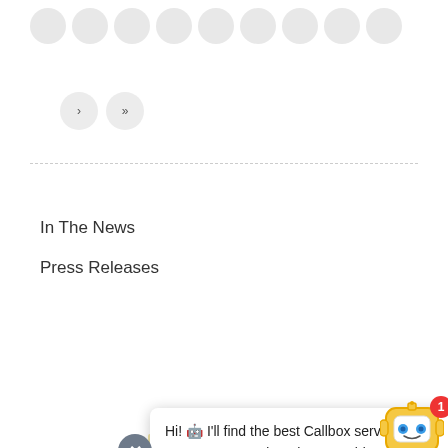[Figure (screenshot): Pagination circles row at top of page showing multiple gray circle page buttons]
[Figure (screenshot): Two navigation arrow circles (previous and next) below pagination]
In The News
Press Releases
[Figure (screenshot): Search bar with placeholder text 'Search' and blue search button icon]
[Figure (screenshot): Chatbot popup bubble with text: Hi! I'll find the best Callbox service that meets your needs. Where would you like to start? With close X button and robot avatar icon with red badge showing 1]